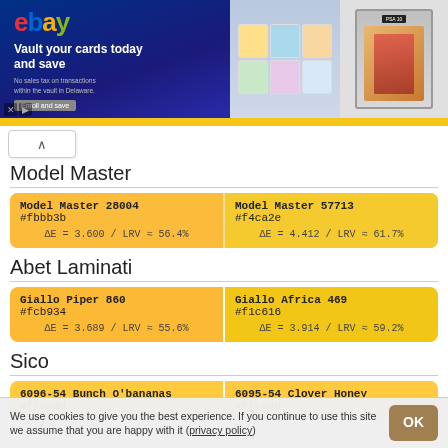[Figure (screenshot): eBay advertisement banner: 'Vault your cards today and save. No sales tax on transactions within the vault in Delaware. Enroll and save.' with card images on the right.]
Model Master
| Model Master 28004
#fbbb3b
ΔE = 3.600 / LRV ≈ 56.4% | Model Master 57713
#f4ca2e
ΔE = 4.412 / LRV ≈ 61.7% |
Abet Laminati
| Giallo Piper 860
#fcb934
ΔE = 3.689 / LRV ≈ 55.6% | Giallo Africa 469
#f1c616
ΔE = 3.914 / LRV ≈ 59.2% |
Sico
| 6096-54 Bunch O'bananas
#ffca3d | 6095-54 Clover Honey
#ffca40 |
We use cookies to give you the best experience. If you continue to use this site we assume that you are happy with it (privacy policy)